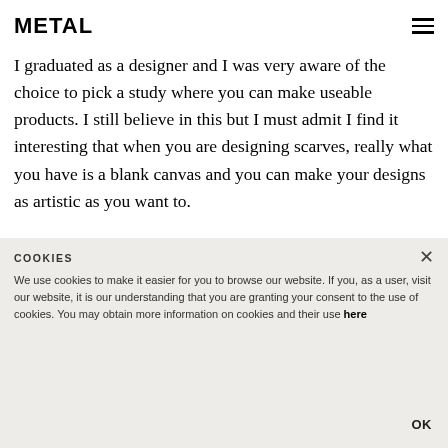METAL
I graduated as a designer and I was very aware of the choice to pick a study where you can make useable products. I still believe in this but I must admit I find it interesting that when you are designing scarves, really what you have is a blank canvas and you can make your designs as artistic as you want to.
What are your greatest influences in life?
…had a lot of space outside the house to play and a "knutselkamer", a room where I would create things
COOKIES
We use cookies to make it easier for you to browse our website. If you, as a user, visit our website, it is our understanding that you are granting your consent to the use of cookies. You may obtain more information on cookies and their use here
OK